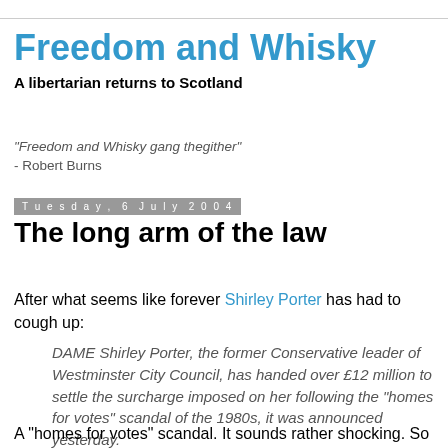Freedom and Whisky
A libertarian returns to Scotland
"Freedom and Whisky gang thegither" - Robert Burns
Tuesday, 6 July 2004
The long arm of the law
After what seems like forever Shirley Porter has had to cough up:
DAME Shirley Porter, the former Conservative leader of Westminster City Council, has handed over £12 million to settle the surcharge imposed on her following the "homes for votes" scandal of the 1980s, it was announced yesterday.
A "homes for votes" scandal. It sounds rather shocking. So...